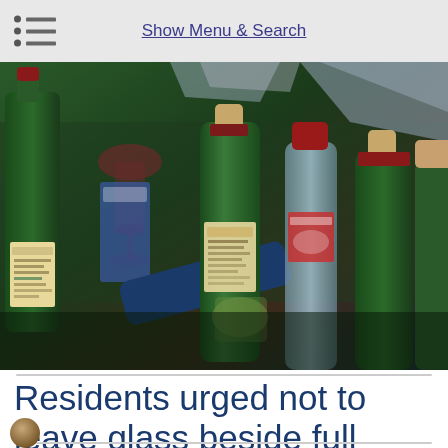Show Menu & Search
[Figure (photo): Collection of empty wine and glass bottles crowded together, including green wine bottles, a wine glass, and various other glass containers, suggesting a full glass recycling bank.]
Residents urged not to leave glass beside full recycling banks